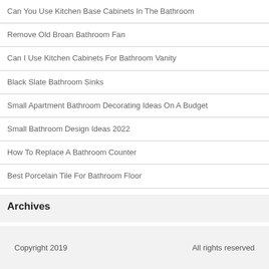Can You Use Kitchen Base Cabinets In The Bathroom
Remove Old Broan Bathroom Fan
Can I Use Kitchen Cabinets For Bathroom Vanity
Black Slate Bathroom Sinks
Small Apartment Bathroom Decorating Ideas On A Budget
Small Bathroom Design Ideas 2022
How To Replace A Bathroom Counter
Best Porcelain Tile For Bathroom Floor
Archives
Select Month
Copyright 2019   All rights reserved